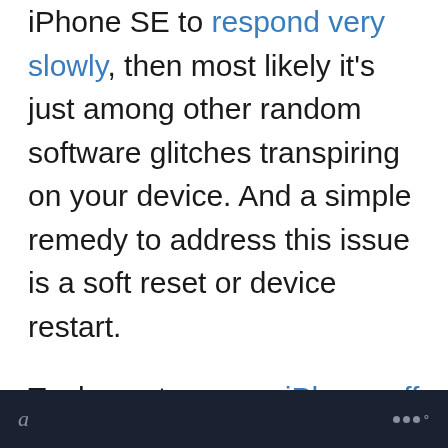iPhone SE to respond very slowly, then most likely it's just among other random software glitches transpiring on your device. And a simple remedy to address this issue is a soft reset or device restart.
To do so, turn your iPhone off the usual way you do by pressing the Power button then slide to power off. After 30 seconds, turn your iPhone back on by pressing the Power button until the Apple logo
a